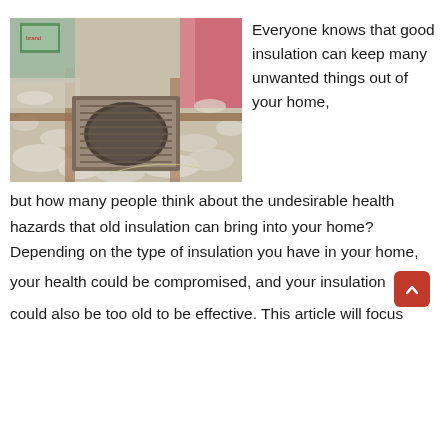[Figure (photo): Photo of an attic or crawlspace showing loose white/gray blown-in insulation spread across the floor, with a metal vent/grate visible in the center, wooden framing beams, and pink batt insulation visible in the background. A green and white bag/container is partially visible in the upper left.]
Everyone knows that good insulation can keep many unwanted things out of your home, but how many people think about the undesirable health hazards that old insulation can bring into your home? Depending on the type of insulation you have in your home, your health could be compromised, and your insulation could also be too old to be effective. This article will focus